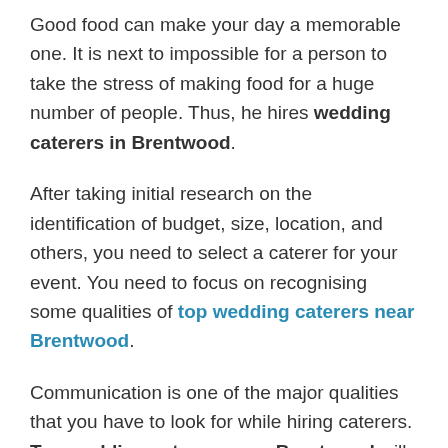Good food can make your day a memorable one. It is next to impossible for a person to take the stress of making food for a huge number of people. Thus, he hires wedding caterers in Brentwood.
After taking initial research on the identification of budget, size, location, and others, you need to select a caterer for your event. You need to focus on recognising some qualities of top wedding caterers near Brentwood.
Communication is one of the major qualities that you have to look for while hiring caterers. Top wedding caterers near Brentwood will be easy to get and will promptly respond to your calls as well as emails. If you are confronting issues with communication up front, then it is also likely to an issue down the line.
Besides their communication skills, you also need to note